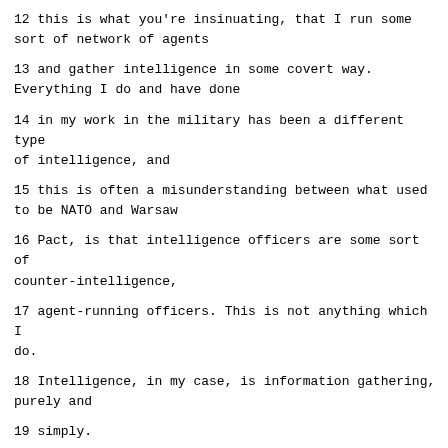12 this is what you're insinuating, that I run some sort of network of agents
13 and gather intelligence in some covert way. Everything I do and have done
14 in my work in the military has been a different type of intelligence, and
15 this is often a misunderstanding between what used to be NATO and Warsaw
16 Pact, is that intelligence officers are some sort of counter-intelligence,
17 agent-running officers. This is not anything which I do.
18 Intelligence, in my case, is information gathering, purely and
19 simply.
20 Q. Well, that is precisely what intelligence officers do. But I did
21 not focus on your duty as military attache but the first part of the
22 sentence, where you say, "around training systems, support, and in the